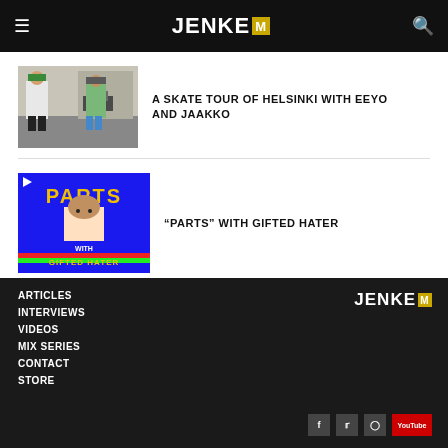JENKE M
[Figure (photo): Two skaters standing on a street corner]
A SKATE TOUR OF HELSINKI WITH EEYO AND JAAKKO
[Figure (screenshot): PARTS with Gifted Hater video thumbnail, blue background with yellow text]
“PARTS” WITH GIFTED HATER
ARTICLES
INTERVIEWS
VIDEOS
MIX SERIES
CONTACT
STORE